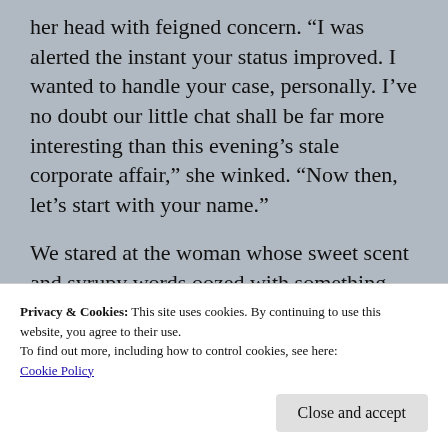her head with feigned concern. “I was alerted the instant your status improved. I wanted to handle your case, personally. I’ve no doubt our little chat shall be far more interesting than this evening’s stale corporate affair,” she winked. “Now then, let’s start with your name.”
We stared at the woman whose sweet scent and syrupy words oozed with something sinister. We tightened our grip on the pulsing fabric, its label
Privacy & Cookies: This site uses cookies. By continuing to use this website, you agree to their use.
To find out more, including how to control cookies, see here:
Cookie Policy